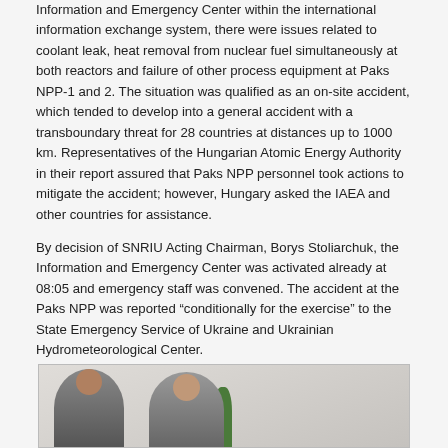Information and Emergency Center within the international information exchange system, there were issues related to coolant leak, heat removal from nuclear fuel simultaneously at both reactors and failure of other process equipment at Paks NPP-1 and 2. The situation was qualified as an on-site accident, which tended to develop into a general accident with a transboundary threat for 28 countries at distances up to 1000 km. Representatives of the Hungarian Atomic Energy Authority in their report assured that Paks NPP personnel took actions to mitigate the accident; however, Hungary asked the IAEA and other countries for assistance.
By decision of SNRIU Acting Chairman, Borys Stoliarchuk, the Information and Emergency Center was activated already at 08:05 and emergency staff was convened. The accident at the Paks NPP was reported “conditionally for the exercise” to the State Emergency Service of Ukraine and Ukrainian Hydrometeorological Center.
[Figure (photo): Photo of two people seated at a table in an office or meeting room setting, with window blinds visible in the background and a plant on the table.]